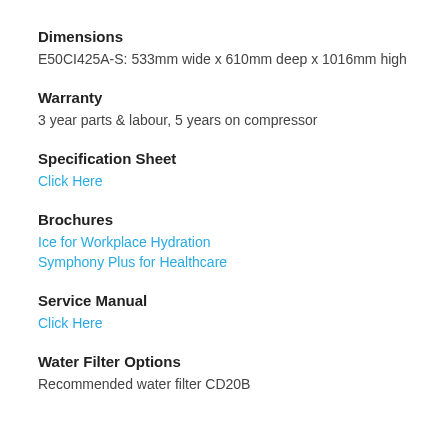Dimensions
E50CI425A-S: 533mm wide x 610mm deep x 1016mm high
Warranty
3 year parts & labour, 5 years on compressor
Specification Sheet
Click Here
Brochures
Ice for Workplace Hydration
Symphony Plus for Healthcare
Service Manual
Click Here
Water Filter Options
Recommended water filter CD20B